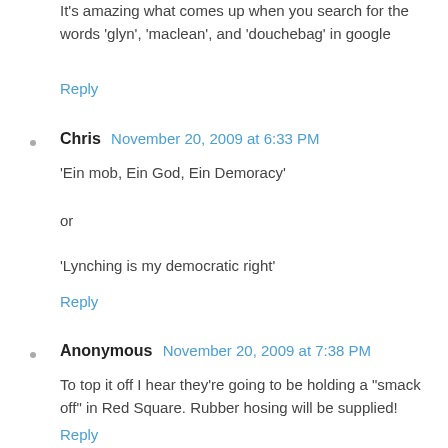It's amazing what comes up when you search for the words 'glyn', 'maclean', and 'douchebag' in google
Reply
Chris  November 20, 2009 at 6:33 PM
'Ein mob, Ein God, Ein Demoracy'
or
'Lynching is my democratic right'
Reply
Anonymous  November 20, 2009 at 7:38 PM
To top it off I hear they're going to be holding a "smack off" in Red Square. Rubber hosing will be supplied!
Reply